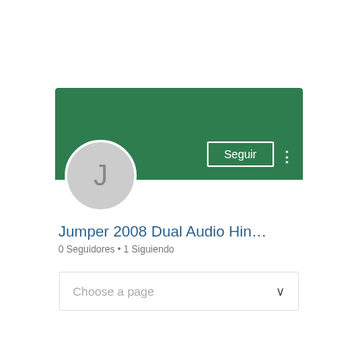[Figure (screenshot): Social media profile page screenshot showing a green banner header, circular avatar with letter J, profile name 'Jumper 2008 Dual Audio Hin…', follower stats '0 Seguidores • 1 Siguiendo', a 'Seguir' (Follow) button on the banner, and a 'Choose a page' dropdown below.]
Jumper 2008 Dual Audio Hin…
0 Seguidores • 1 Siguiendo
Choose a page